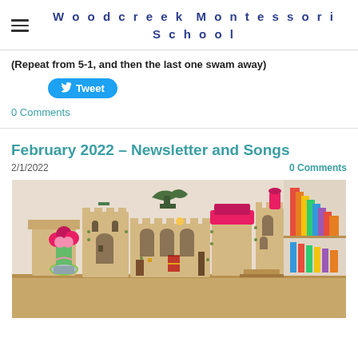Woodcreek Montessori School
(Repeat from 5-1, and then the last one swam away)
[Figure (other): Tweet button with Twitter bird icon]
0 Comments
February 2022 - Newsletter and Songs
2/1/2022    0 Comments
[Figure (photo): Photo of wooden toy castle set on a classroom shelf with Montessori materials visible in the background, pink flowers in a vase on the left]